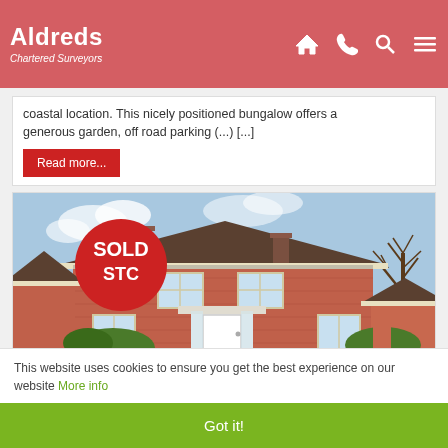Aldreds Chartered Surveyors — navigation bar with home, phone, search, menu icons
coastal location. This nicely positioned bungalow offers a generous garden, off road parking (...) [...]
Read more...
[Figure (photo): Exterior photo of a red brick semi-detached house with a white front door and porch, bare winter trees visible on the right. A red circular badge reads 'SOLD STC' in white bold text.]
This website uses cookies to ensure you get the best experience on our website More info
Got it!